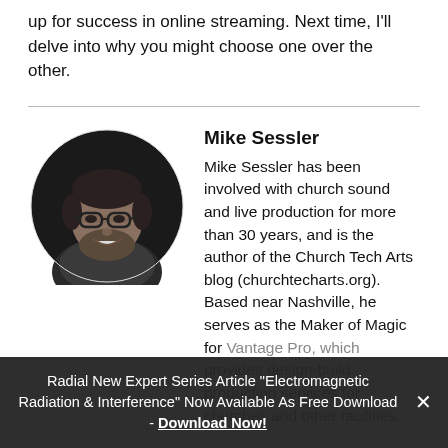up for success in online streaming. Next time, I'll delve into why you might choose one over the other.
[Figure (photo): Black and white circular portrait photo of Mike Sessler, a middle-aged man with glasses and a beard, smiling.]
Mike Sessler
Mike Sessler has been involved with church sound and live production for more than 30 years, and is the author of the Church Tech Arts blog (churchtecharts.org). Based near Nashville, he serves as the Maker of Magic for Vantage Pro, which provides design-build production services for churches and other facilities.
Radial New Expert Series Article "Electromagnetic Radiation & Interference" Now Available As Free Download - Download Now!